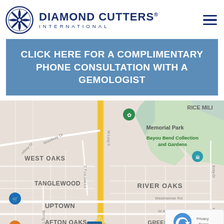[Figure (logo): Diamond Cutters International logo with circular emblem and text]
CLICK HERE FOR A COMPLIMENTARY PHONE CONSULTATION WITH A GEMOLOGIST
[Figure (map): Google Maps view of Houston TX area showing West Oaks, Tanglewood, Uptown, Afton Oaks, River Oaks, Memorial Park, Bayou Bend Collection and Gardens, Greenway/Upper Kirby neighborhoods with streets including Woodway Dr, S Post Oak Ln, W Loop S, Westheimer Rd, W Alabama St, Richmond Ave, Bering Dr, Kirby Dr]